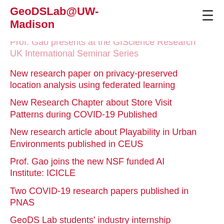GeoDSLab@UW-Madison
Ethical Issues of Using Geospatial Data in Health Research
Prof. Gao presents at the GIScience Research UK International Seminar Series
New research paper on privacy-preserved location analysis using federated learning
New Research Chapter about Store Visit Patterns during COVID-19 Published
New research article about Playability in Urban Environments published in CEUS
Prof. Gao joins the new NSF funded AI Institute: ICICLE
Two COVID-19 research papers published in PNAS
GeoDS Lab students' industry internship